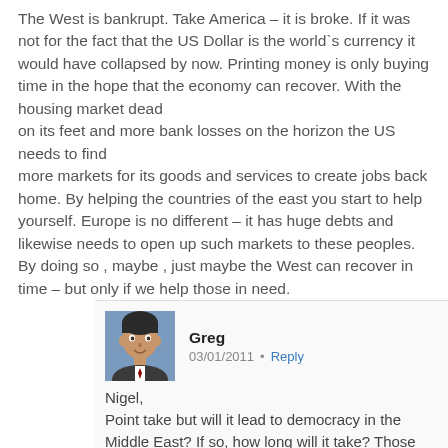The West is bankrupt. Take America – it is broke. If it was not for the fact that the US Dollar is the world`s currency it would have collapsed by now. Printing money is only buying time in the hope that the economy can recover. With the housing market dead
on its feet and more bank losses on the horizon the US needs to find
more markets for its goods and services to create jobs back home. By helping the countries of the east you start to help yourself. Europe is no different – it has huge debts and likewise needs to open up such markets to these peoples. By doing so , maybe , just maybe the West can recover in time – but only if we help those in need.
Greg  03/01/2011  •  Reply
Nigel,
Point take but will it lead to democracy in the Middle East? If so, how long will it take? Those are the big unanswered questions.
You do make some good points here, thank you